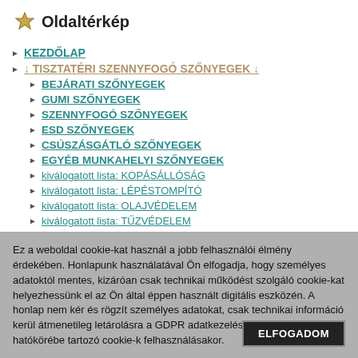Oldaltérkép
KEZDŐLAP
↓ TISZTATÉRI SZENNYFOGÓ SZŐNYEGEK ↓
BEJÁRATI SZŐNYEGEK
GUMI SZŐNYEGEK
SZENNYFOGÓ SZŐNYEGEK
ESD SZŐNYEGEK
CSÚSZÁSGÁTLÓ SZŐNYEGEK
EGYÉB MUNKAHELYI SZŐNYEGEK
kiválogatott lista: KOPÁSÁLLÓSÁG
kiválogatott lista: LÉPÉSTOMPÍTÓ
kiválogatott lista: OLAJVÉDELEM
kiválogatott lista: TŰZVÉDELEM
Ez a weboldal cookie-kat használ a jobb felhasználói élmény érdekében. Honlapunk használatával Ön elfogadja, hogy személyes adatoktól mentes, kizáróan csak technikai működést szolgáló cookie-kat helyezhessünk el az Ön által éppen használt digitális eszközén. A honlap nem kér és rögzít személyes adatokat, csak technikai információ kerül átmenetileg letárolásra a GDPR adatkezelési szabályzat hatókörébe tartozó cookie-k felhasználásakor.